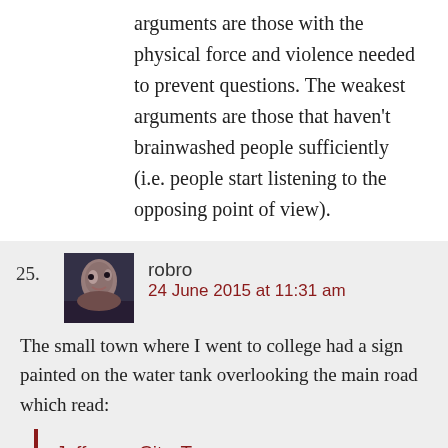arguments are those with the physical force and violence needed to prevent questions. The weakest arguments are those that haven’t brainwashed people sufficiently (i.e. people start listening to the opposing point of view).
25. robro
24 June 2015 at 11:31 am
The small town where I went to college had a sign painted on the water tank overlooking the main road which read:
Jefferson City, Tennessee
Home of Carson-Newman College
A Safe Place for Your Child
The while and ...